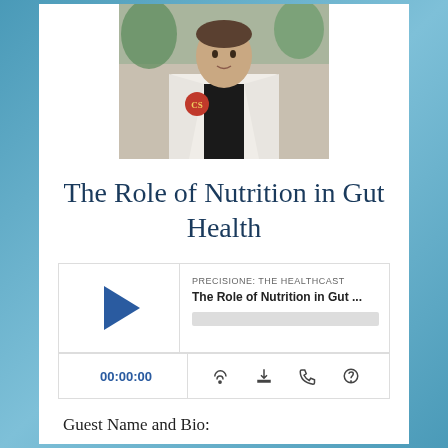[Figure (photo): A man in a white medical coat with a red and gold circular logo (CS) on the left chest, wearing a dark shirt underneath, with plants visible in the background.]
The Role of Nutrition in Gut Health
[Figure (screenshot): Podcast player widget for 'PRECISIONE: THE HEALTHCAST' showing episode 'The Role of Nutrition in Gut ...' with a play button, progress bar, timestamp 00:00:00, and icons for subscribe, download, embed, and share.]
Guest Name and Bio:
Leo Treyzon, MD, MS